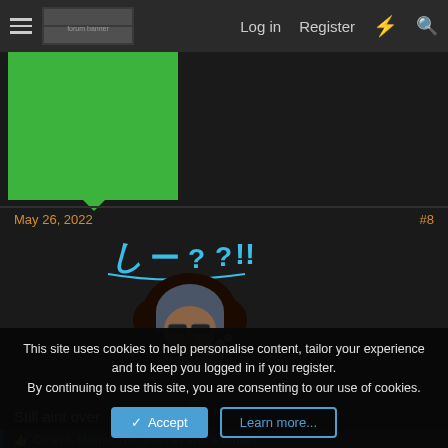Log in  Register
[Figure (screenshot): Green banner image placeholder in top-left area]
May 26, 2022
#8
[Figure (illustration): Anime-style sticker of a character with afro hair wearing a hooded jacket, finger to lips in a shushing gesture, with Japanese/stylized text above reading like 'shi—?!!']
Still aint over
👍 Cinera, Monet, Nik, Flamet and 6 others
This site uses cookies to help personalise content, tailor your experience and to keep you logged in if you register.
By continuing to use this site, you are consenting to our use of cookies.